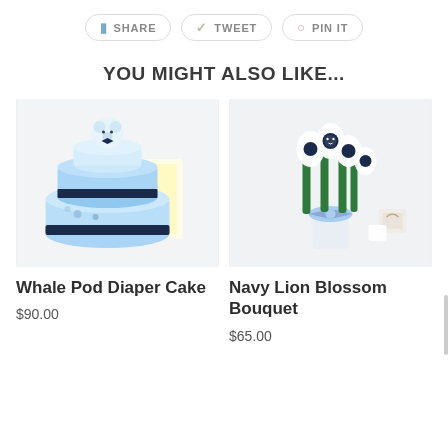SHARE | TWEET | PIN IT
YOU MIGHT ALSO LIKE...
[Figure (photo): Photo of Whale Pod Diaper Cake — a tiered diaper cake decorated with navy and blue whale theme, topped with a plush bear.]
Whale Pod Diaper Cake
$90.00
[Figure (photo): Photo of Navy Lion Blossom Bouquet — a bouquet made of baby socks and items shaped like a lion, with green, navy and white coloring and a blue ribbon bow.]
Navy Lion Blossom Bouquet
$65.00